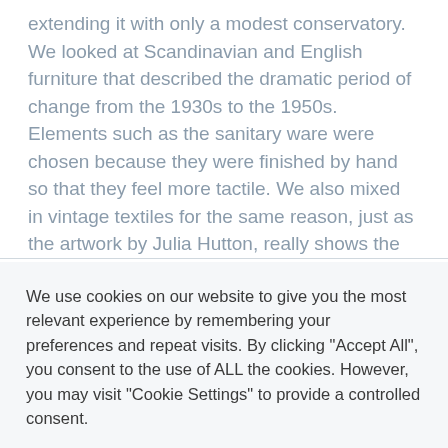extending it with only a modest conservatory. We looked at Scandinavian and English furniture that described the dramatic period of change from the 1930s to the 1950s. Elements such as the sanitary ware were chosen because they were finished by hand so that they feel more tactile. We also mixed in vintage textiles for the same reason, just as the artwork by Julia Hutton, really shows the hand of the artist.
We use cookies on our website to give you the most relevant experience by remembering your preferences and repeat visits. By clicking "Accept All", you consent to the use of ALL the cookies. However, you may visit "Cookie Settings" to provide a controlled consent.